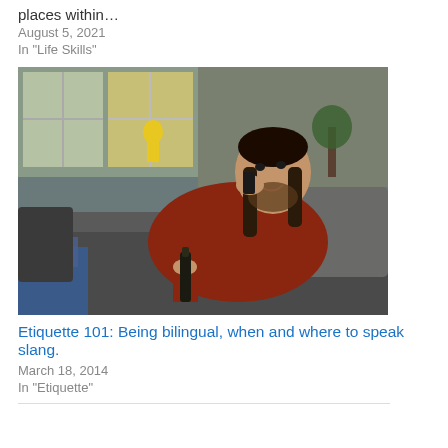places within…
August 5, 2021
In "Life Skills"
[Figure (photo): A man with long hair and a beard sitting on a couch, talking on a mobile phone and holding a dark glass bottle, wearing a red/rust colored jacket. Background shows a room with windows and a person in yellow visible outside.]
Etiquette 101: Being bilingual, when and where to speak slang.
March 18, 2014
In "Etiquette"